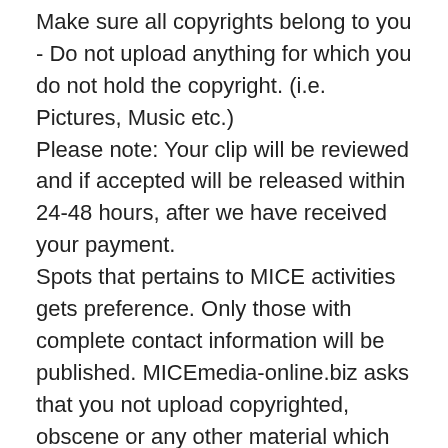Make sure all copyrights belong to you - Do not upload anything for which you do not hold the copyright. (i.e. Pictures, Music etc.)
Please note: Your clip will be reviewed and if accepted will be released within 24-48 hours, after we have received your payment.
Spots that pertains to MICE activities gets preference. Only those with complete contact information will be published. MICEmedia-online.biz asks that you not upload copyrighted, obscene or any other material which violates! MICEmedia-online.biz reserves the right to remove any video at any time at our discretion, if your video matches not to our regulations and suggestions.
Prices:
Your global presence costs 499.00 EUR!